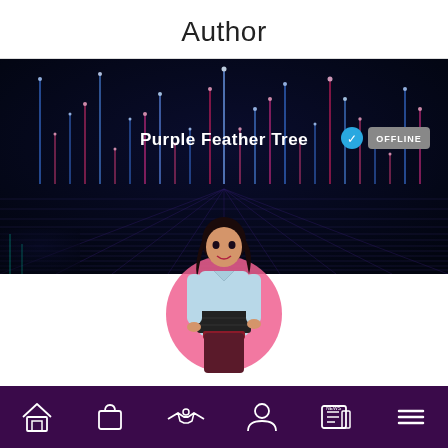Author
[Figure (screenshot): Author profile banner with dark synthwave background featuring vertical light lines and a grid floor. Text reads 'Purple Feather Tree' with a blue verified checkmark and a grey OFFLINE badge. Below is a profile image of an illustrated fashion figure woman with dark hair wearing a light blue shirt with a dark corset belt, set against a pink circular background.]
Navigation bar with icons: home, shopping bag, handshake, user/person, news, menu